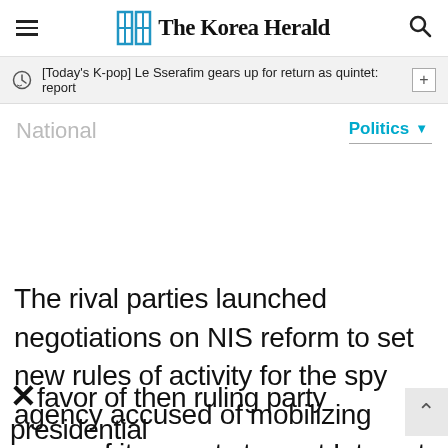The Korea Herald
[Today's K-pop] Le Sserafim gears up for return as quintet: report
National   Politics
The rival parties launched negotiations on NIS reform to set new rules of activity for the spy agency accused of mobilizing some of its agents to post Internet comments last year in favor of then ruling party presidential